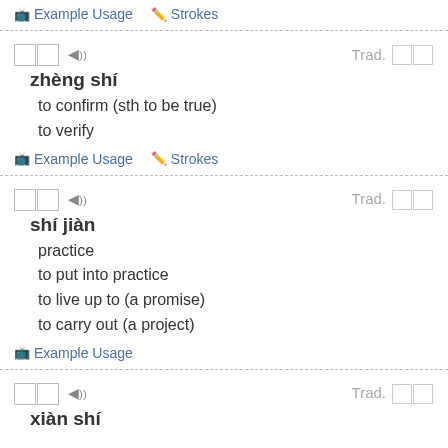Example Usage   Strokes
XX  ◀)) Trad. XX
zhèng shí
to confirm (sth to be true)
to verify
Example Usage   Strokes
XX  ◀)) Trad. XX
shí jiàn
practice
to put into practice
to live up to (a promise)
to carry out (a project)
Example Usage
XX  ◀)) Trad. XX
xiàn shí